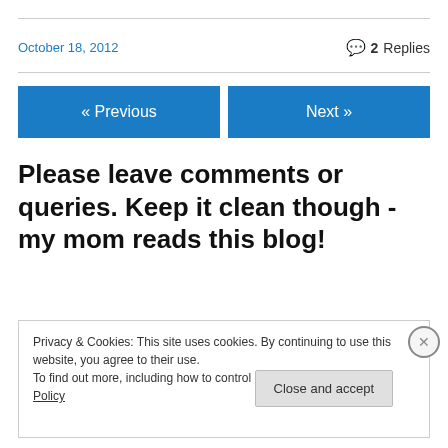October 18, 2012
2 Replies
« Previous
Next »
Please leave comments or queries. Keep it clean though - my mom reads this blog!
Privacy & Cookies: This site uses cookies. By continuing to use this website, you agree to their use. To find out more, including how to control cookies, see here: Cookie Policy
Close and accept